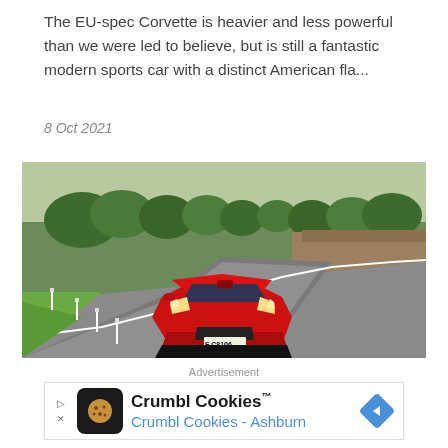The EU-spec Corvette is heavier and less powerful than we were led to believe, but is still a fantastic modern sports car with a distinct American fla...
8 Oct 2021
[Figure (photo): A red Chevrolet Corvette C8 with license plate F C8106 driving on a winding road through green countryside with trees and fields in the background.]
Advertisement
[Figure (screenshot): Advertisement banner for Crumbl Cookies showing logo icon, brand name 'Crumbl Cookies' with trademark symbol, and subtitle 'Crumbl Cookies - Ashburn', with a blue navigation arrow icon on the right.]